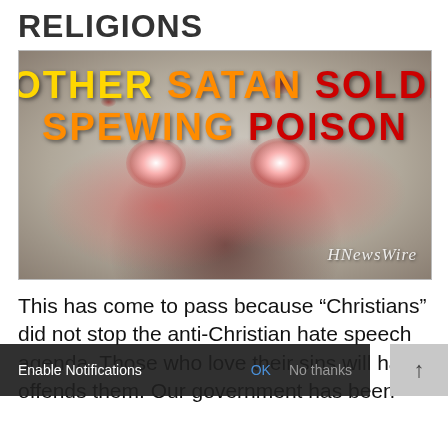RELIGIONS
[Figure (illustration): Creepy zombie/monster face with glowing red eyes and text overlay reading 'ANOTHER SATAN SOLDIER SPEWING POISON' with watermark 'HNewsWire']
This has come to pass because “Christians” did not stop the anti-Christian hate speech agenda. Those who love their sins will hat offends them. Our government has been